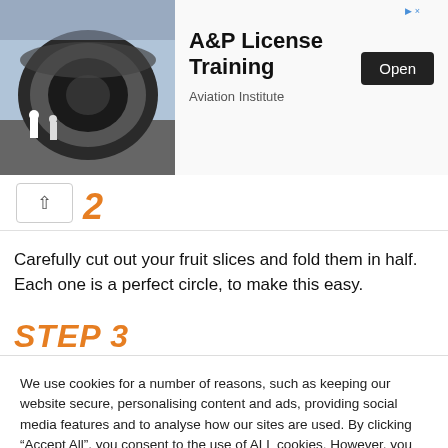[Figure (screenshot): Advertisement banner for A&P License Training by Aviation Institute with an image of aircraft engines and workers, an Open button, and ad close controls]
[Figure (screenshot): Partially visible step navigation element showing a back arrow button and partial step number in orange italic]
Carefully cut out your fruit slices and fold them in half.  Each one is a perfect circle, to make this easy.
STEP 3
We use cookies for a number of reasons, such as keeping our website secure, personalising content and ads, providing social media features and to analyse how our sites are used. By clicking “Accept All”, you consent to the use of ALL cookies. However, you may visit "Cookie Settings" to provide a controlled consent. Read More